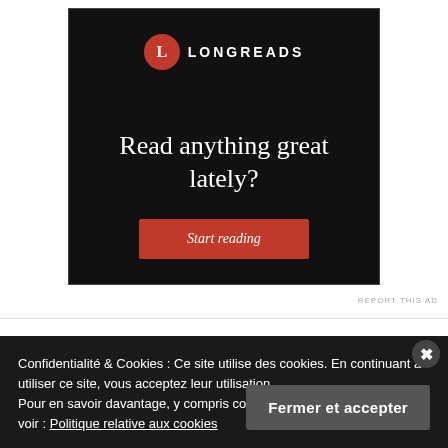[Figure (screenshot): Longreads advertisement banner on dark background. Shows Longreads logo (red circle with L and LONGREADS text), headline 'Read anything great lately?' and a red 'Start reading' button.]
REPORT THIS AD
Confidentialité & Cookies : Ce site utilise des cookies. En continuant à utiliser ce site, vous acceptez leur utilisation.
Pour en savoir davantage, y compris comment contrôler les cookies, voir : Politique relative aux cookies
Fermer et accepter